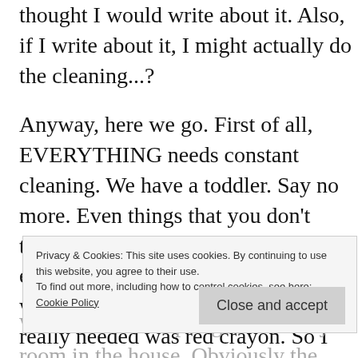thought I would write about it. Also, if I write about it, I might actually do the cleaning...?
Anyway, here we go. First of all, EVERYTHING needs constant cleaning. We have a toddler. Say no more. Even things that you don't think need cleaning, do. For example, Daniel today decided that what our cream living room walls really needed was red crayon. So I spent time scrubbing a portion of the wall, and am now fairly convinced that that part is showing the rest of the wall up. I might get Daniel to continue, and after the living room then eventually I will be motivated to clean the rest.
Privacy & Cookies: This site uses cookies. By continuing to use this website, you agree to their use. To find out more, including how to control cookies, see here: Cookie Policy
We also need to spring clean every room in the house. Obviously the bathrooms need doing